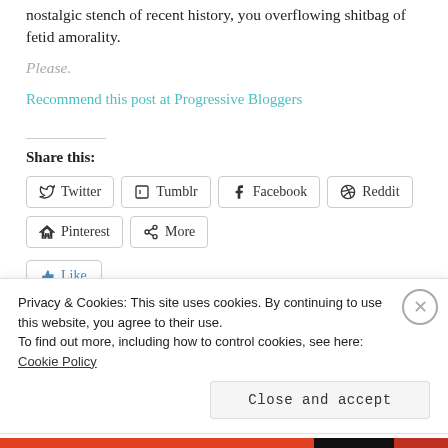nostalgic stench of recent history, you overflowing shitbag of fetid amorality.
Please.
Recommend this post at Progressive Bloggers
Share this:
Twitter
Tumblr
Facebook
Reddit
Pinterest
More
Like
Privacy & Cookies: This site uses cookies. By continuing to use this website, you agree to their use. To find out more, including how to control cookies, see here: Cookie Policy
Close and accept